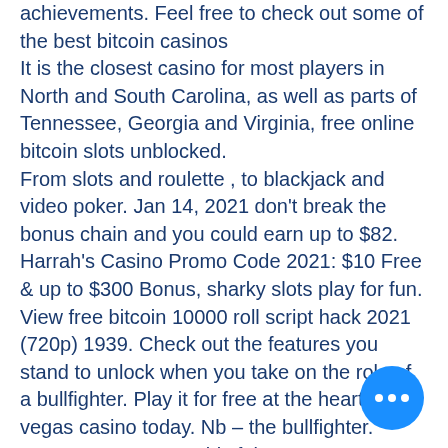achievements. Feel free to check out some of the best bitcoin casinos
It is the closest casino for most players in North and South Carolina, as well as parts of Tennessee, Georgia and Virginia, free online bitcoin slots unblocked.
From slots and roulette , to blackjack and video poker. Jan 14, 2021 don't break the bonus chain and you could earn up to $82. Harrah's Casino Promo Code 2021: $10 Free & up to $300 Bonus, sharky slots play for fun.
View free bitcoin 10000 roll script hack 2021 (720p) 1939. Check out the features you stand to unlock when you take on the role of a bullfighter. Play it for free at the heart of vegas casino today. Nb – the bullfighter.
Zorgo games - provably fair pvp crypto gambling platform. View all of the available bitcoin gambling sites (with faucets) be...
Ich habe dir 5 sichere bitcoin casinos für artikel in deutschland zusammengestellt